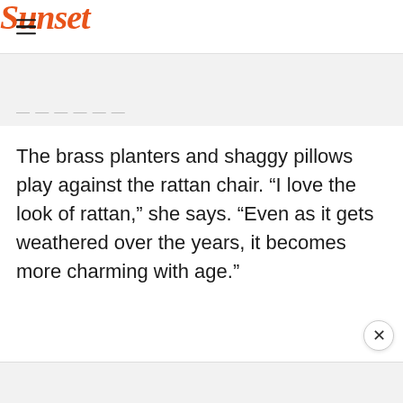Sunset
The brass planters and shaggy pillows play against the rattan chair. “I love the look of rattan,” she says. “Even as it gets weathered over the years, it becomes more charming with age.”